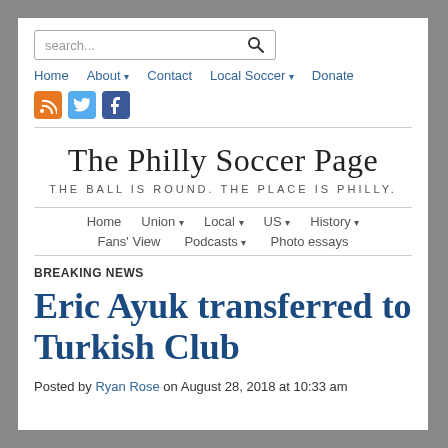search...
Home | About | Contact | Local Soccer | Donate
The Philly Soccer Page
THE BALL IS ROUND. THE PLACE IS PHILLY.
Home | Union | Local | US | History | Fans' View | Podcasts | Photo essays
BREAKING NEWS
Eric Ayuk transferred to Turkish Club
Posted by Ryan Rose on August 28, 2018 at 10:33 am